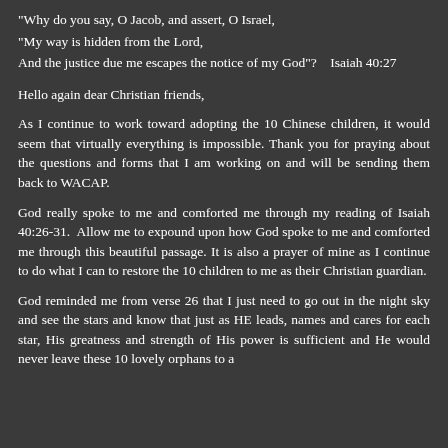“Why do you say, O Jacob, and assert, O Israel,
“My way is hidden from the Lord,
And the justice due me escapes the notice of my God”?   Isaiah 40:27
Hello again dear Christian friends,
As I continue to work toward adopting the 10 Chinese children, it would seem that virtually everything is impossible. Thank you for praying about the questions and forms that I am working on and will be sending them back to WACAP.
God really spoke to me and comforted me through my reading of Isaiah 40:26-31. Allow me to expound upon how God spoke to me and comforted me through this beautiful passage. It is also a prayer of mine as I continue to do what I can to restore the 10 children to me as their Christian guardian.
God reminded me from verse 26 that I just need to go out in the night sky and see the stars and know that just as HE leads, names and cares for each star, His greatness and strength of His power is sufficient and He would never leave these 10 lovely orphans to a